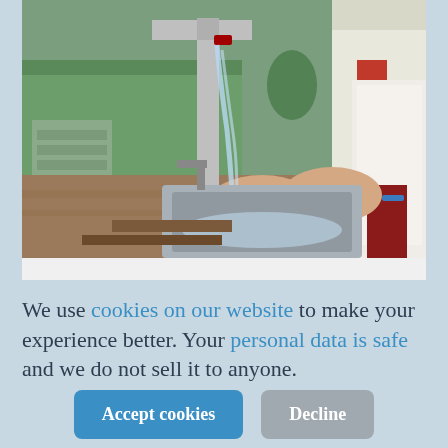[Figure (photo): Photo of students washing hands at an outdoor metal sink with a grey PVC pipe tap, water flowing. One student in white shirt and dark red pants visible on right. Green building and outdoor vegetation in background.]
We use cookies on our website to make your experience better. Your personal data is safe and we do not sell it to anyone.